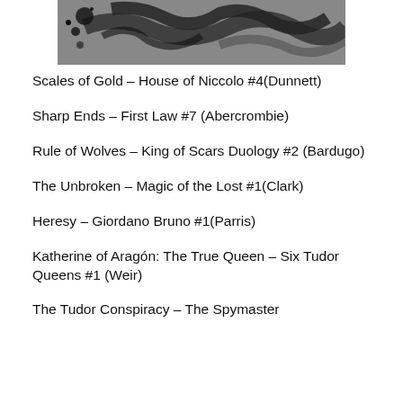[Figure (photo): Black and white image, appears to be an abstract or artistic photograph with dark brush-like marks and figures]
Scales of Gold – House of Niccolo #4(Dunnett)
Sharp Ends – First Law #7 (Abercrombie)
Rule of Wolves – King of Scars Duology #2 (Bardugo)
The Unbroken – Magic of the Lost #1(Clark)
Heresy – Giordano Bruno #1(Parris)
Katherine of Aragón: The True Queen – Six Tudor Queens #1 (Weir)
The Tudor Conspiracy – The Spymaster